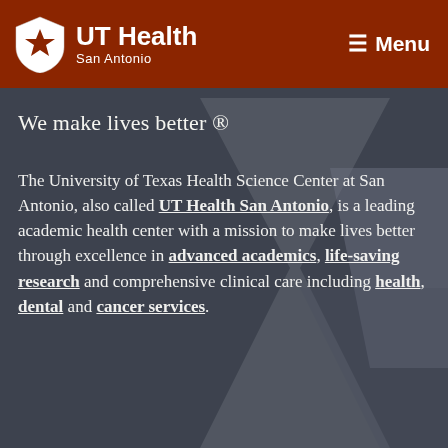UT Health San Antonio — Menu
We make lives better ®
The University of Texas Health Science Center at San Antonio, also called UT Health San Antonio, is a leading academic health center with a mission to make lives better through excellence in advanced academics, life-saving research and comprehensive clinical care including health, dental and cancer services.